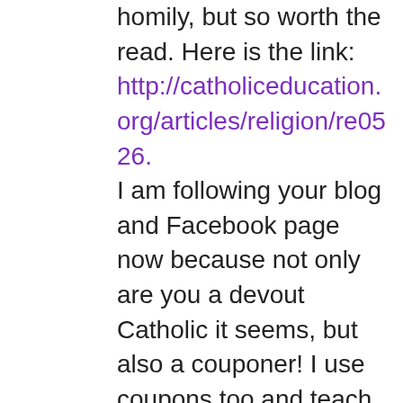homily, but so worth the read. Here is the link: http://catholiceducation.org/articles/religion/re0526. I am following your blog and Facebook page now because not only are you a devout Catholic it seems, but also a couponer! I use coupons too and teach coupon workshops in my hometown in N.C. I also sell coupon binders and accessories! I love teaching people how to save 50% or more on their grocery bills and I'm a big fan of Southern Savers too, ( I was browsing through your pages on your blog and saw Southern Savers listed) but I shop alot at Harris Teeter 🙂 I have a Facebook page that I run to let others know about savings and upcoming workshops that I teach. My coupon Facebook page (Smith's Savings